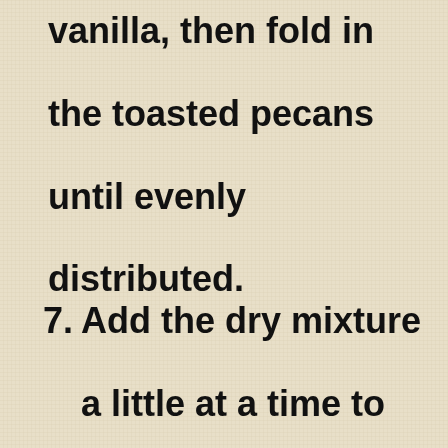vanilla, then fold in the toasted pecans until evenly distributed.
7. Add the dry mixture a little at a time to the liquid